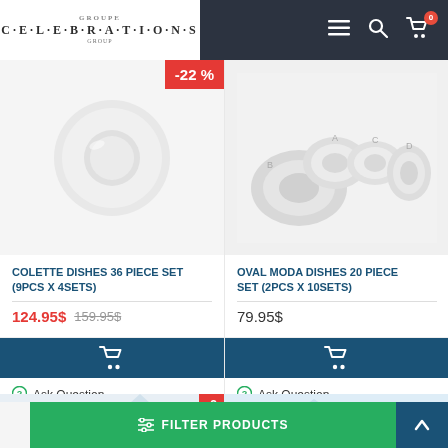CELEBRATIONS GROUP — navigation header with logo, hamburger menu, search, and cart (0 items)
[Figure (photo): White ceramic plate (Colette dish) on light grey background with -22% red discount badge]
[Figure (photo): Set of white oval Moda dishes in four sizes (labeled A, B, C, D) on light grey background]
COLETTE DISHES 36 PIECE SET (9PCS X 4SETS)
124.95$ 159.95$
Ask Question
OVAL MODA DISHES 20 PIECE SET (2PCS X 10SETS)
79.95$
Ask Question
FILTER PRODUCTS | -2 (discount badge) | back-to-top arrow button